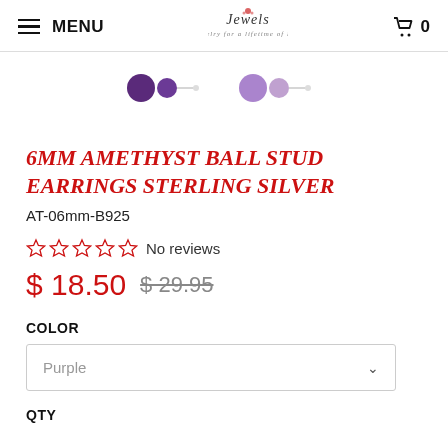MENU | Jewels logo | Cart 0
[Figure (photo): Two pairs of amethyst ball stud earrings shown as product thumbnails. Left pair shows dark purple balls, right pair shows lighter purple balls.]
6MM AMETHYST BALL STUD EARRINGS STERLING SILVER
AT-06mm-B925
☆ ☆ ☆ ☆ ☆ No reviews
$ 18.50  $ 29.95
COLOR
Purple
QTY